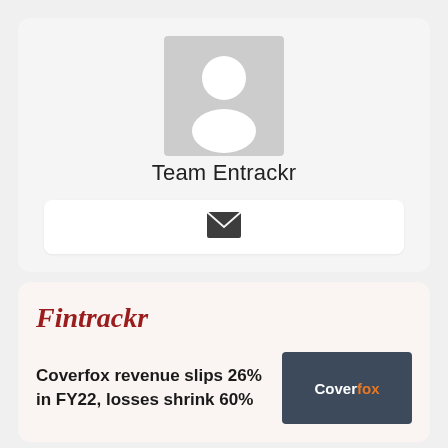[Figure (photo): Generic user avatar placeholder — grey square with white silhouette of a person (head and shoulders)]
Team Entrackr
[Figure (illustration): Email icon — dark filled envelope shape on white bar background]
Fintrackr
Coverfox revenue slips 26% in FY22, losses shrink 60%
[Figure (logo): Coverfox logo — white text 'Cover' and orange text 'fox' on dark blue-grey background]